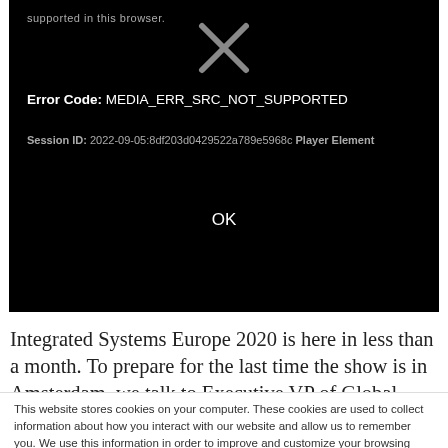[Figure (screenshot): Browser error dialog on black background showing an X icon, Error Code: MEDIA_ERR_SRC_NOT_SUPPORTED, Session ID: 2022-09-05:8df203d0429522a789e5968c Player Element, and an OK button]
Integrated Systems Europe 2020 is here in less than a month. To prepare for the last time the show is in Amsterdam, we talk to Executive VP of Global Sales
This website stores cookies on your computer. These cookies are used to collect information about how you interact with our website and allow us to remember you. We use this information in order to improve and customize your browsing experience and for analytics and metrics about our visitors both on this website and other media. To find out more about the cookies we use, see our Privacy Policy.
Accept